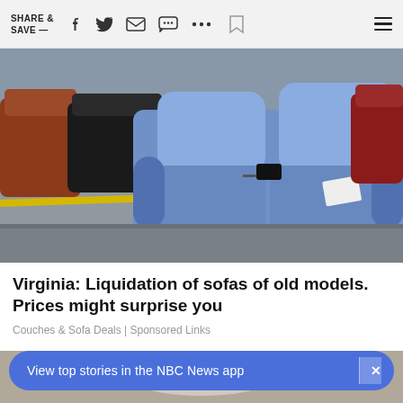SHARE & SAVE —
[Figure (photo): Blue sofa/couch displayed in a furniture liquidation warehouse, surrounded by other colorful sofas.]
Virginia: Liquidation of sofas of old models. Prices might surprise you
Couches & Sofa Deals | Sponsored Links
[Figure (photo): Partial view of another furniture item, bottom of page.]
View top stories in the NBC News app